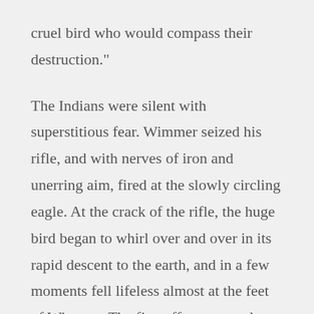cruel bird who would compass their destruction."
The Indians were silent with superstitious fear. Wimmer seized his rifle, and with nerves of iron and unerring aim, fired at the slowly circling eagle. At the crack of the rifle, the huge bird began to whirl over and over in its rapid descent to the earth, and in a few moments fell lifeless almost at the feet of Wimmer. The first effect was a glow of relief on the scared faces of the superstitious braves, to be instantly